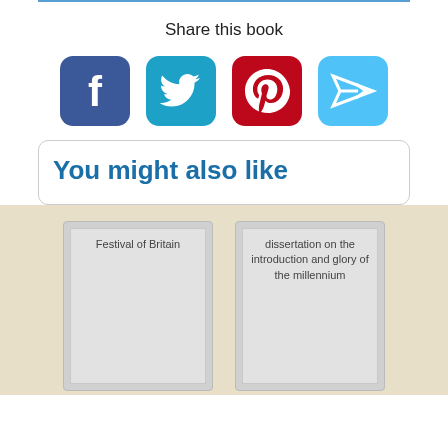Share this book
[Figure (infographic): Social share buttons: Facebook (blue), Twitter (teal), Pinterest (red), Send/Share (light blue)]
You might also like
[Figure (illustration): Book card placeholder with title: Festival of Britain]
[Figure (illustration): Book card placeholder with title: dissertation on the introduction and glory of the millennium]